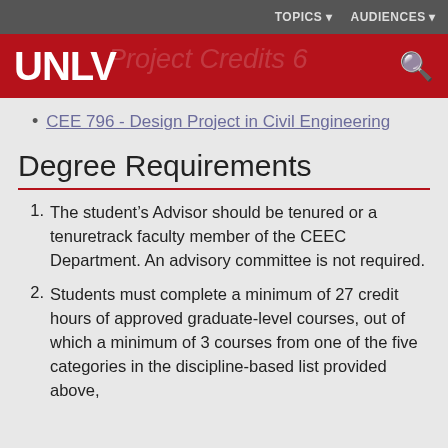TOPICS  AUDIENCES
[Figure (logo): UNLV university logo on red header bar with search icon]
CEE 796 - Design Project in Civil Engineering
Degree Requirements
1. The student's Advisor should be tenured or a tenuretrack faculty member of the CEEC Department. An advisory committee is not required.
2. Students must complete a minimum of 27 credit hours of approved graduate-level courses, out of which a minimum of 3 courses from one of the five categories in the discipline-based list provided above,